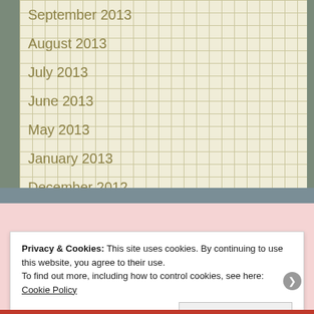September 2013
August 2013
July 2013
June 2013
May 2013
January 2013
December 2012
Privacy & Cookies: This site uses cookies. By continuing to use this website, you agree to their use.
To find out more, including how to control cookies, see here: Cookie Policy
Close and accept